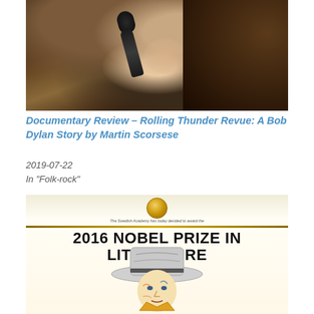[Figure (photo): Close-up photograph of a person (Bob Dylan) singing into a microphone, shown in profile with dramatic lighting against a dark background.]
Documentary Review – Rolling Thunder Revue: A Bob Dylan Story by Martin Scorsese
2019-07-22
In "Folk-rock"
[Figure (photo): Image showing '2016 NOBEL PRIZE IN LITERATURE' with a gold medal at top, decorative gold border, and an illustrated portrait of Bob Dylan in a wide-brimmed hat with colorful artistic styling.]